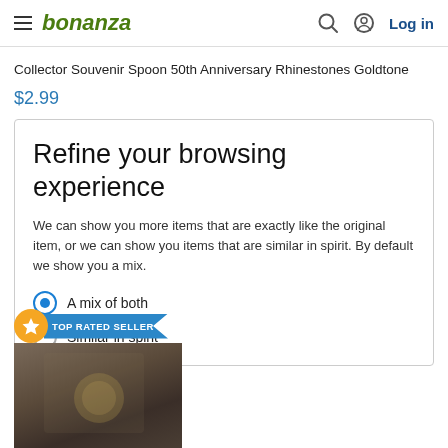bonanza  Log in
Collector Souvenir Spoon 50th Anniversary Rhinestones Goldtone
$2.99
Refine your browsing experience
We can show you more items that are exactly like the original item, or we can show you items that are similar in spirit. By default we show you a mix.
A mix of both
Similar in spirit
[Figure (photo): Product image with TOP RATED SELLER badge, showing what appears to be a collector spoon or similar item]